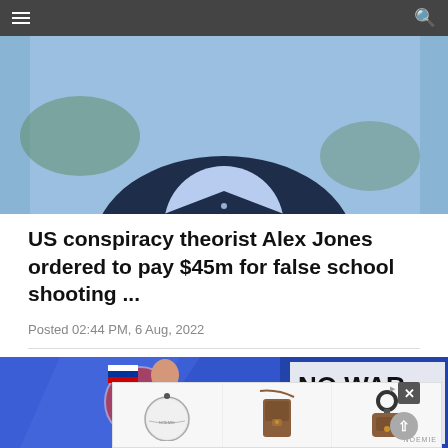[Navigation bar with hamburger menu and search icon]
[Figure (photo): Partial photo of a man in a dark navy suit with a light blue shirt, cropped at chest level, outdoor background]
US conspiracy theorist Alex Jones ordered to pay $45m for false school shooting ...
Posted 02:44 PM, 6 Aug, 2022
[Figure (photo): News broadcast screenshot showing a female anchor and a person holding a protest sign reading NO WAR with Russian text ОСТАНОВИТЕ ВОЙНУ НЕ ВЕРЬТЕ ПРОПАГАНДЕ and partially visible ВРУТ WAR]
[Figure (photo): Advertisement overlay showing Noemie brand leather accessories: circular coin purse, phone crossbody bag, and AirPods case with ring handle]